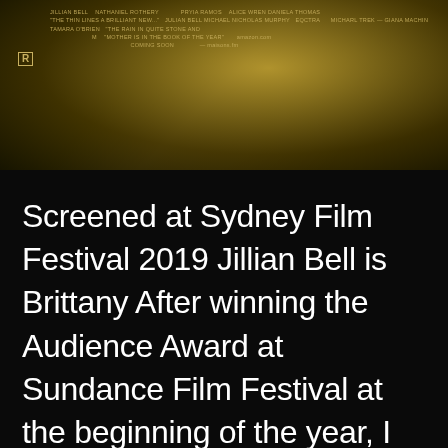[Figure (photo): Movie poster or film still with golden/sepia tones showing dark background with text credits including 'COMING SOON' and an 'R' rating box. The image appears to be a movie promotional material.]
Screened at Sydney Film Festival 2019 Jillian Bell is Brittany After winning the Audience Award at Sundance Film Festival at the beginning of the year, I couldn't skip this at Sydney Film Festival. Brittany Runs a Marathonwas actually the first film